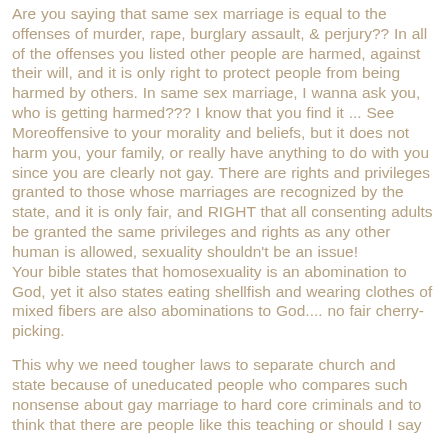Are you saying that same sex marriage is equal to the offenses of murder, rape, burglary assault, & perjury?? In all of the offenses you listed other people are harmed, against their will, and it is only right to protect people from being harmed by others. In same sex marriage, I wanna ask you, who is getting harmed??? I know that you find it ... See Moreoffensive to your morality and beliefs, but it does not harm you, your family, or really have anything to do with you since you are clearly not gay. There are rights and privileges granted to those whose marriages are recognized by the state, and it is only fair, and RIGHT that all consenting adults be granted the same privileges and rights as any other human is allowed, sexuality shouldn't be an issue! Your bible states that homosexuality is an abomination to God, yet it also states eating shellfish and wearing clothes of mixed fibers are also abominations to God.... no fair cherry-picking.
This why we need tougher laws to separate church and state because of uneducated people who compares such nonsense about gay marriage to hard core criminals and to think that there are people like this teaching or should I say brainwashing our youth. It's so Mardi like there is nothing to this...